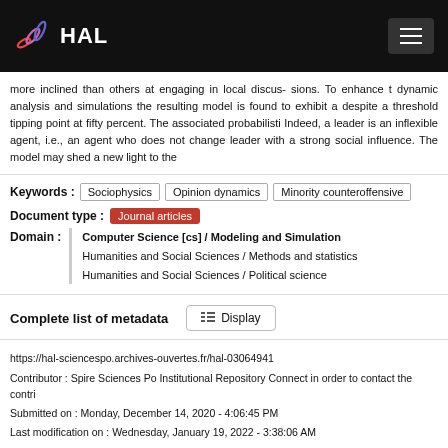HAL
more inclined than others at engaging in local discus- sions. To enhance t dynamic analysis and simulations the resulting model is found to exhibit a despite a threshold tipping point at fifty percent. The associated probabilisti Indeed, a leader is an inflexible agent, i.e., an agent who does not change leader with a strong social influence. The model may shed a new light to the
Keywords : Sociophysics | Opinion dynamics | Minority counteroffensive
Document type : Journal articles
Domain : Computer Science [cs] / Modeling and Simulation
Humanities and Social Sciences / Methods and statistics
Humanities and Social Sciences / Political science
Complete list of metadata  Display
https://hal-sciencespo.archives-ouvertes.fr/hal-03064941
Contributor : Spire Sciences Po Institutional Repository Connect in order to contact the contri
Submitted on : Monday, December 14, 2020 - 4:06:45 PM
Last modification on : Wednesday, January 19, 2022 - 3:38:06 AM